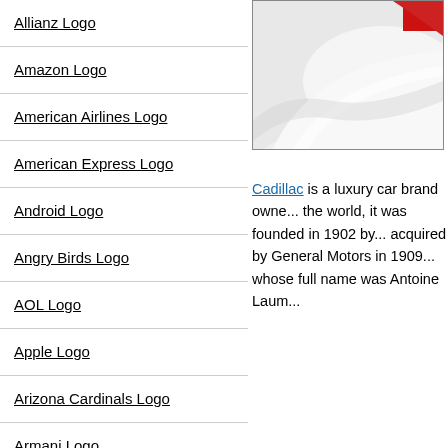Allianz Logo
Amazon Logo
American Airlines Logo
American Express Logo
Android Logo
Angry Birds Logo
AOL Logo
Apple Logo
Arizona Cardinals Logo
Armani Logo
Arsenal Logo
Aston Martin Logo
Asus Logo
[Figure (photo): Partial view of a Cadillac car, showing the front/hood area in white and red against a light background]
Cadillac is a luxury car brand owned... the world, it was founded in 1902 by... acquired by General Motors in 1909... whose full name was Antoine Laum...